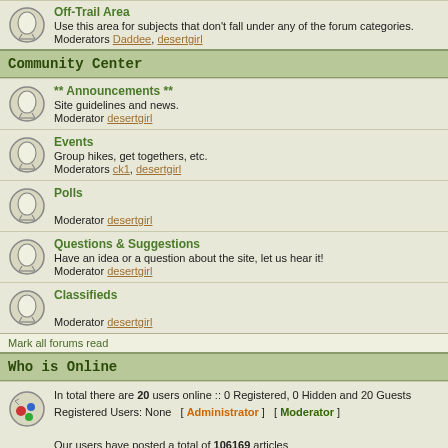Off-Trail Area
Use this area for subjects that don't fall under any of the forum categories.
Moderators Daddee, desertgirl
Community Center
** Announcements **
Site guidelines and news.
Moderator desertgirl
Events
Group hikes, get togethers, etc.
Moderators ck1, desertgirl
Polls
Moderator desertgirl
Questions & Suggestions
Have an idea or a question about the site, let us hear it!
Moderator desertgirl
Classifieds
Moderator desertgirl
Mark all forums read
Who is Online
In total there are 20 users online :: 0 Registered, 0 Hidden and 20 Guests
Registered Users: None  [ Administrator ]  [ Moderator ]

Our users have posted a total of 106169 articles
We have 1869 registered users
The newest registered user is ECofpbib